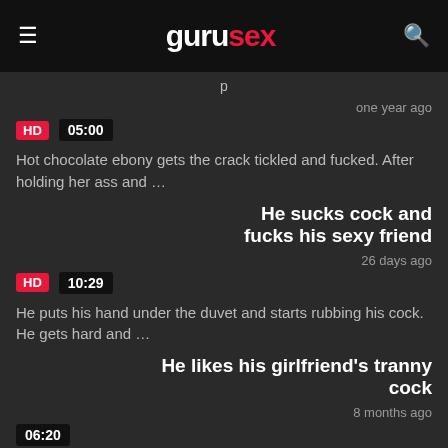gurusex
one year ago  05:00  HD
Hot chocolate ebony gets the crack tickled and fucked. After holding her ass and …
He sucks cock and fucks his sexy friend
26 days ago  10:29  HD
He puts his hand under the duvet and starts rubbing his cock. He gets hard and …
He likes his girlfriend's tranny cock
8 months ago  06:20